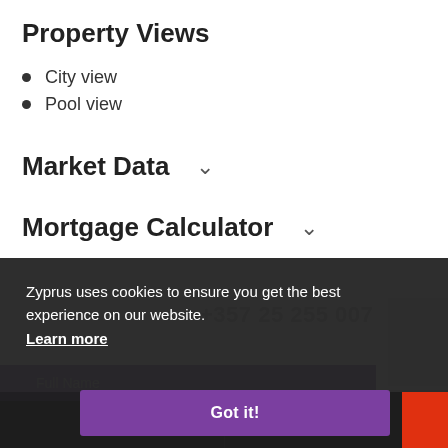Property Views
City view
Pool view
Market Data
Mortgage Calculator
Zyprus uses cookies to ensure you get the best experience on our website. Learn more
+357 25 255 007
Full Name
Got it!
Call
Email